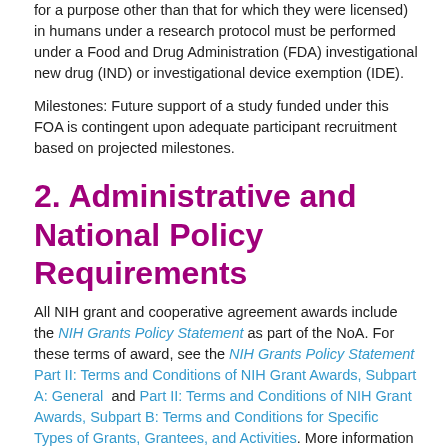for a purpose other than that for which they were licensed) in humans under a research protocol must be performed under a Food and Drug Administration (FDA) investigational new drug (IND) or investigational device exemption (IDE).
Milestones: Future support of a study funded under this FOA is contingent upon adequate participant recruitment based on projected milestones.
2. Administrative and National Policy Requirements
All NIH grant and cooperative agreement awards include the NIH Grants Policy Statement as part of the NoA. For these terms of award, see the NIH Grants Policy Statement Part II: Terms and Conditions of NIH Grant Awards, Subpart A: General and Part II: Terms and Conditions of NIH Grant Awards, Subpart B: Terms and Conditions for Specific Types of Grants, Grantees, and Activities. More information is provided at Award Conditions and Information for NIH Grants.
Recipients of federal financial assistance (FFA) from HHS must administer their programs in compliance with federal civil rights law. This means that recipients of HHS funds must ensure equal access to their programs without regard to a person's race, color, national